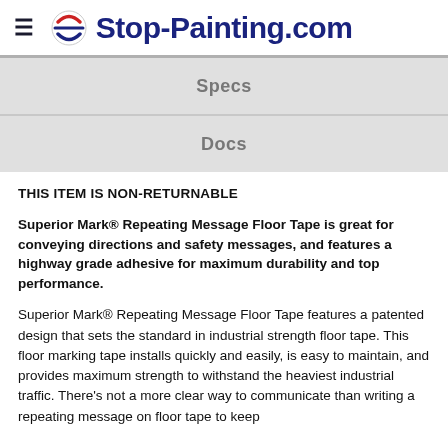Stop-Painting.com
Specs
Docs
THIS ITEM IS NON-RETURNABLE
Superior Mark® Repeating Message Floor Tape is great for conveying directions and safety messages, and features a highway grade adhesive for maximum durability and top performance.
Superior Mark® Repeating Message Floor Tape features a patented design that sets the standard in industrial strength floor tape. This floor marking tape installs quickly and easily, is easy to maintain, and provides maximum strength to withstand the heaviest industrial traffic. There's not a more clear way to communicate than writing a repeating message on floor tape to keep